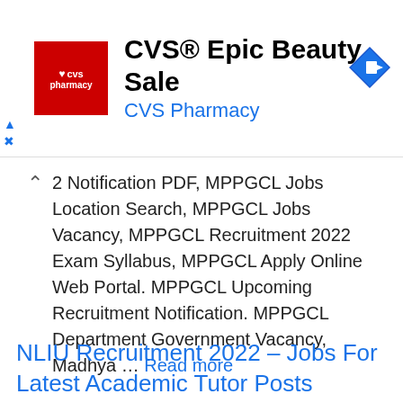[Figure (illustration): CVS Pharmacy advertisement banner with logo and 'CVS® Epic Beauty Sale' headline with navigation icon]
2 Notification PDF, MPPGCL Jobs Location Search, MPPGCL Jobs Vacancy, MPPGCL Recruitment 2022 Exam Syllabus, MPPGCL Apply Online Web Portal. MPPGCL Upcoming Recruitment Notification. MPPGCL Department Government Vacancy, Madhya … Read more
Apply Online Form, Apprentice, B.Tech, Graduation Jobs, ITI Jobs, Latest Notification, M.Tech, Madhya Pradesh (MP) Jobs, Walk for Interview
NLIU Recruitment 2022 – Jobs For Latest Academic Tutor Posts